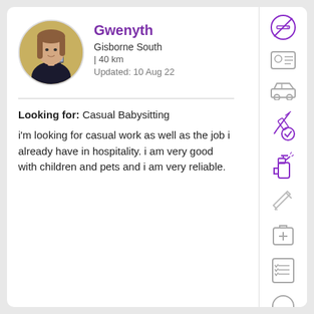[Figure (photo): Circular avatar photo of a young woman taking a selfie in a mirror, wearing a black outfit, with a yellow/green background.]
Gwenyth
Gisborne South
| 40 km
Updated: 10 Aug 22
Looking for: Casual Babysitting
i'm looking for casual work as well as the job i already have in hospitality. i am very good with children and pets and i am very reliable.
[Figure (illustration): No-smoking icon in purple circle outline]
[Figure (illustration): ID card / profile icon in grey]
[Figure (illustration): Car/automobile icon in grey]
[Figure (illustration): Vaccination/syringe with checkmark icon in purple]
[Figure (illustration): Cleaning spray bottle icon in purple]
[Figure (illustration): Pencil/pen icon in grey]
[Figure (illustration): First aid/medical kit with plus icon in grey]
[Figure (illustration): Checklist/clipboard icon in grey]
[Figure (illustration): Partially visible icon at bottom in grey]